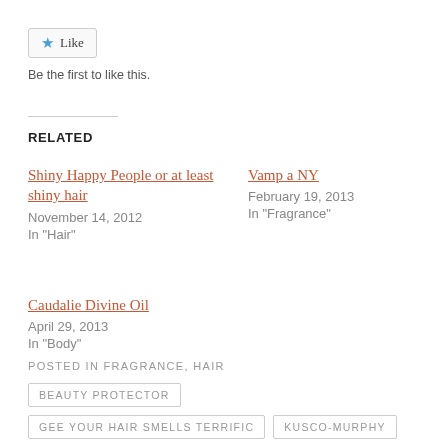[Figure (other): Like button with blue star icon and 'Like' text, bordered button style]
Be the first to like this.
RELATED
Shiny Happy People or at least shiny hair
November 14, 2012
In "Hair"
Vamp a NY
February 19, 2013
In "Fragrance"
Caudalie Divine Oil
April 29, 2013
In "Body"
POSTED IN FRAGRANCE, HAIR
BEAUTY PROTECTOR
GEE YOUR HAIR SMELLS TERRIFIC
KUSCO-MURPHY